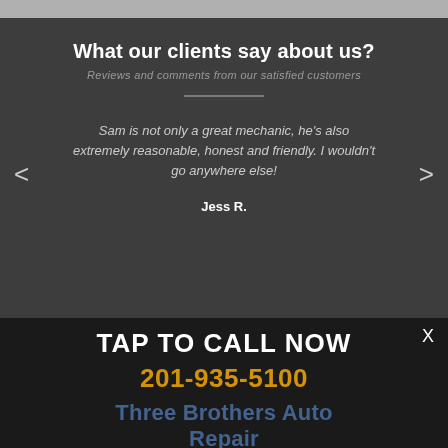What our clients say about us?
Reviews and comments from our satisfied customers
Sam is not only a great mechanic, he's also extremely reasonable, honest and friendly. I wouldn't go anywhere else!
Jess R.
TAP TO CALL NOW
201-935-5100
Three Brothers Auto Repair